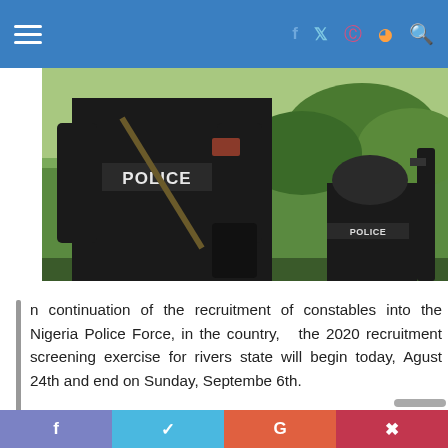Navigation bar with hamburger menu and social icons (f, twitter, pinterest, rss, search)
[Figure (photo): Two police officers in black uniforms with 'POLICE' written on the back, viewed from behind, with green trees in background]
n continuation of the recruitment of constables into the Nigeria Police Force, in the country,  the 2020 recruitment screening exercise for rivers state will begin today, Agust 24th and end on Sunday, Septembe 6th.
According to a release by the SP Nnamdi Omoni, the Police public relations officer of
f  twitter  G  pinterest (social share bar)